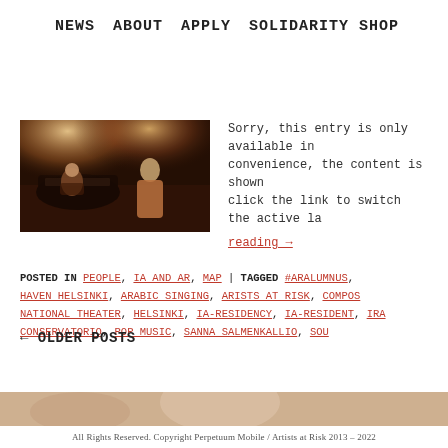NEWS  ABOUT  APPLY  SOLIDARITY SHOP
[Figure (photo): Two performers on a dark stage: a woman playing piano on the left and a man singing on the right, warm amber stage lighting]
Sorry, this entry is only available in convenience, the content is shown click the link to switch the active la reading →
POSTED IN PEOPLE, IA AND AR, MAP | TAGGED #ARALUMNUS, HAVEN HELSINKI, ARABIC SINGING, ARISTS AT RISK, COMPOS NATIONAL THEATER, HELSINKI, IA-RESIDENCY, IA-RESIDENT, IRA CONSERVATORIO, POP MUSIC, SANNA SALMENKALLIO, SOU
← OLDER POSTS
[Figure (photo): Footer image strip showing a partial photo of a person]
All Rights Reserved. Copyright Perpetuum Mobile / Artists at Risk 2013 – 2022